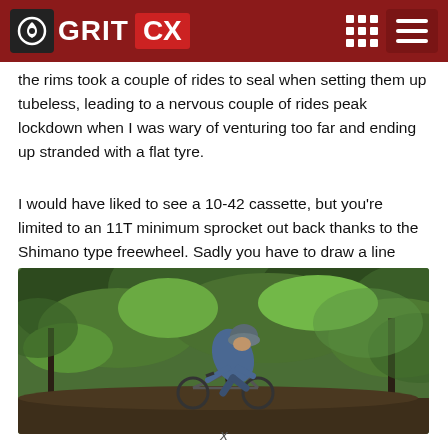GRIT CX
the rims took a couple of rides to seal when setting them up tubeless, leading to a nervous couple of rides peak lockdown when I was wary of venturing too far and ending up stranded with a flat tyre.
I would have liked to see a 10-42 cassette, but you’re limited to an 11T minimum sprocket out back thanks to the Shimano type freewheel. Sadly you have to draw a line somewhere on the specification.
[Figure (photo): A cyclist wearing a blue jacket and grey helmet riding on a trail surrounded by green trees and bushes.]